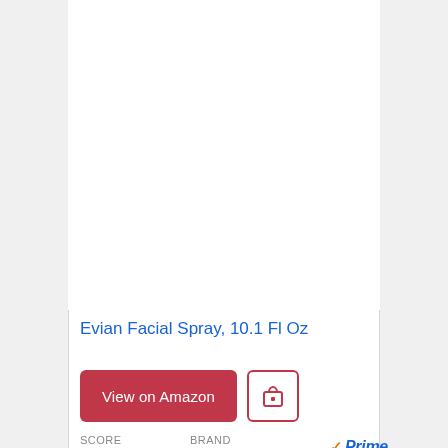[Figure (photo): Product image area (blank/white) for Evian Facial Spray 10.1 Fl Oz]
Evian Facial Spray, 10.1 Fl Oz
View on Amazon [button] [bag icon button]
SCORE  Brand  Prime
9.6  EVIAN FACIAL